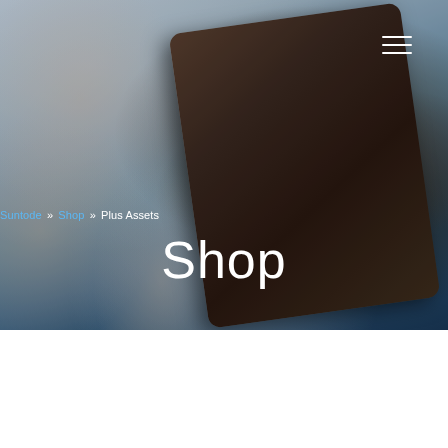[Figure (photo): Person holding a dark tablet/iPad, shot from close up showing hands and partial torso, blurred background, used as hero banner image for a shop page]
≡ (hamburger menu icon)
Suntode » Shop » Plus Assets
Shop